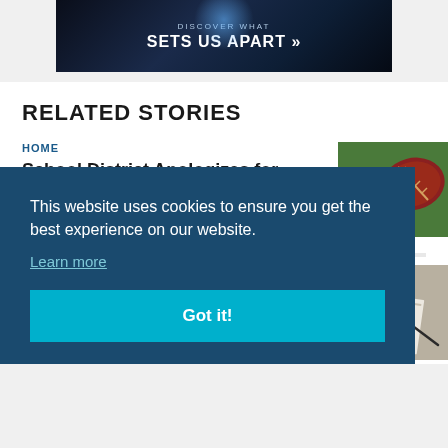[Figure (photo): Dark banner advertisement with text 'DISCOVER WHAT SETS US APART »' on a dark blue/black background with light effect]
RELATED STORIES
HOME
School District Apologizes for Cheerleaders' 'Privilege' Taunt
[Figure (photo): Photo of a football helmet on grass field]
[Figure (photo): Photo of papers and a pen on a desk]
This website uses cookies to ensure you get the best experience on our website.
Learn more
Got it!